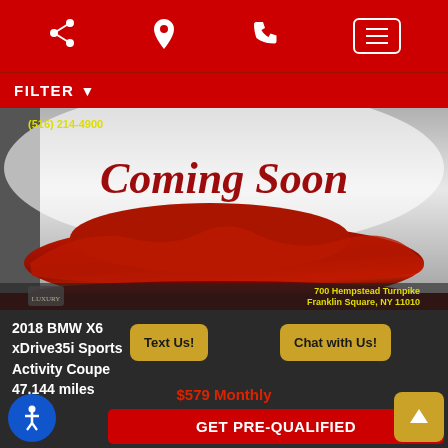Navigation bar with share, location, phone, and menu icons
FILTER
[Figure (photo): Car listing image showing a vehicle covered with a red cloth/drape with text 'Coming Soon' in red cursive script on a grey/white background. Phone number (516) 214-4900 shown top left. Address '700 Hempstead Turnpike, Franklin Square, NY 11010' shown bottom right. Luxury logo shown bottom left.]
2018 BMW X6 xDrive35i Sports Activity Coupe 47,144 miles
Text Us!
Chat with Us!
$579 Monthly
GET PRE-QUALIFIED